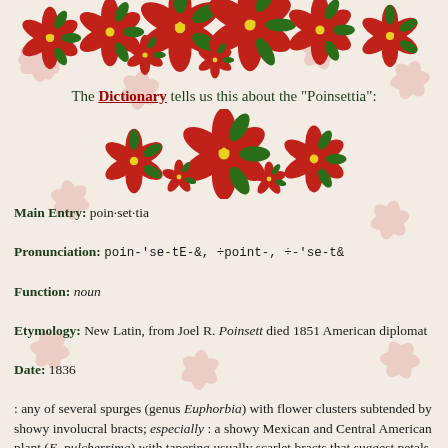[Figure (illustration): Decorative border of red poinsettia flowers across the top of the page]
The Dictionary tells us this about the "Poinsettia":
[Figure (illustration): Small cluster of red poinsettia flowers, decorative divider]
Main Entry: poin·set·tia
Pronunciation: poin-'se-tE-&, ÷point-, ÷-'se-t&
Function: noun
Etymology: New Latin, from Joel R. Poinsett died 1851 American diplomat
Date: 1836
: any of several spurges (genus Euphorbia) with flower clusters subtended by showy involucral bracts; especially : a showy Mexican and Central American plant (E. pulcherrima) with tapering usually scarlet bracts that suggest petals and surround small yellow flowers
[poinsettia illustration]
[Figure (illustration): Single small red poinsettia flower, decorative element]
This is what The World Book Encyclopedia says about the Poinsettia:
"Poinsettia, pronounced poyn SEHT ee uh or pronounced poyn SEHT uh, is a plant that has tiny flowers surrounded by large, colored bracts (special leaves). The bracts are usually bright red, but may also be yellowish or white. The brilliant red bracts contrast with the green leaves and make the